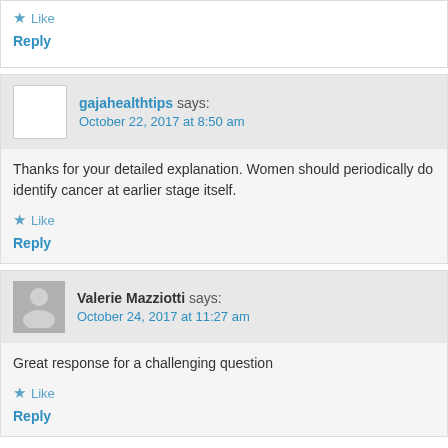Like
Reply
gajahealthtips says: October 22, 2017 at 8:50 am
Thanks for your detailed explanation. Women should periodically do identify cancer at earlier stage itself.
Like
Reply
Valerie Mazziotti says: October 24, 2017 at 11:27 am
Great response for a challenging question
Like
Reply